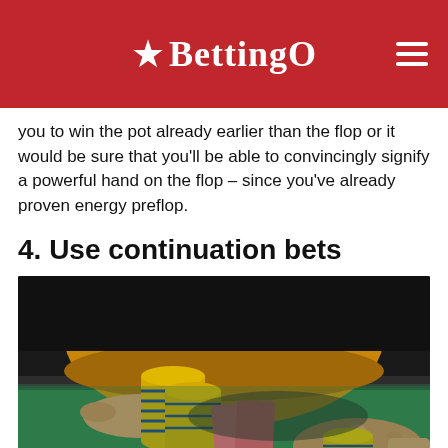BettingO
you to win the pot already earlier than the flop or it would be sure that you'll be able to convincingly signify a powerful hand on the flop – since you've already proven energy preflop.
4. Use continuation bets
[Figure (photo): A person in a yellow sweater sitting at a green poker table, with stacks of yellow poker chips and pink playing cards visible. A hand on the right is pushing chips forward.]